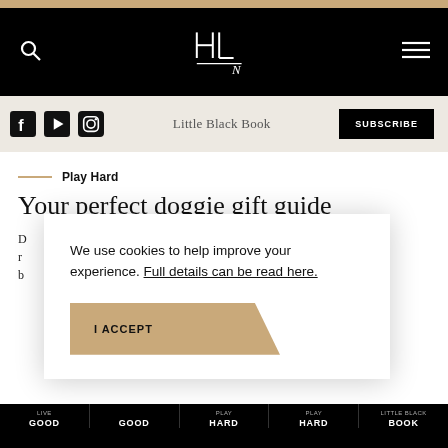HLN website header with logo, search icon, and hamburger menu
Social icons (Facebook, YouTube, Instagram) | Little Black Book | SUBSCRIBE
Play Hard
Your perfect doggie gift guide
D... r... b...
We use cookies to help improve your experience. Full details can be read here.
I ACCEPT
LIVE GOOD | GOOD | HARD | HARD | BOOK